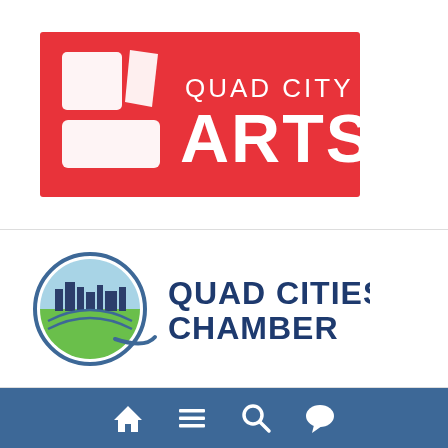[Figure (logo): Quad City Arts logo: red rectangle background with white abstract shapes on the left and text 'QUAD CITY ARTS' in white on the right]
[Figure (logo): Quad Cities Chamber logo: circular emblem with a stylized Q containing cityscape and green landscape, with blue text 'QUAD CITIES CHAMBER' to the right]
[Figure (screenshot): Blue navigation bar with four white icons: home, hamburger menu, search, and chat/comment]